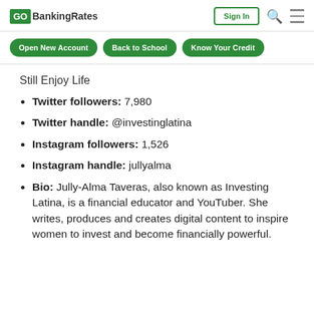GoBankingRates | Sign In
Open New Account | Back to School | Know Your Credit
Still Enjoy Life
Twitter followers: 7,980
Twitter handle: @investinglatina
Instagram followers: 1,526
Instagram handle: jullyalma
Bio: Jully-Alma Taveras, also known as Investing Latina, is a financial educator and YouTuber. She writes, produces and creates digital content to inspire women to invest and become financially powerful.